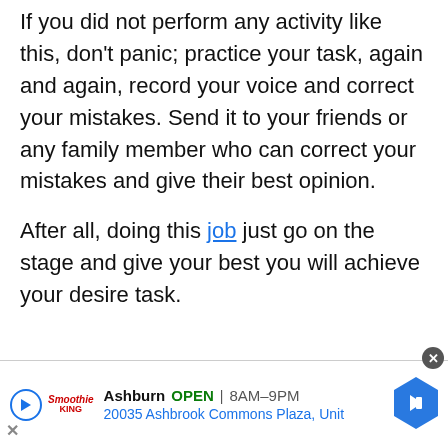If you did not perform any activity like this, don't panic; practice your task, again and again, record your voice and correct your mistakes. Send it to your friends or any family member who can correct your mistakes and give their best opinion.
After all, doing this job just go on the stage and give your best you will achieve your desire task.
[Figure (other): Advertisement banner for Smoothie King at Ashburn location. Shows play button, Smoothie King logo, business name 'Ashburn', OPEN status, hours '8AM-9PM', address '20035 Ashbrook Commons Plaza, Unit', close button, and navigation arrow icon.]